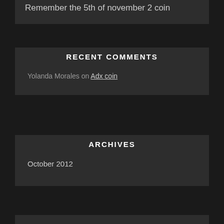Remember the 5th of november 2 coin
RECENT COMMENTS
Yolanda Morales on Adx coin
ARCHIVES
October 2012